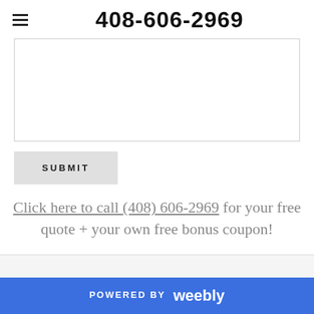408-606-2969
[Figure (other): Empty text input/form field area]
SUBMIT
Click here to call (408) 606-2969 for your free quote + your own free bonus coupon!
POWERED BY weebly